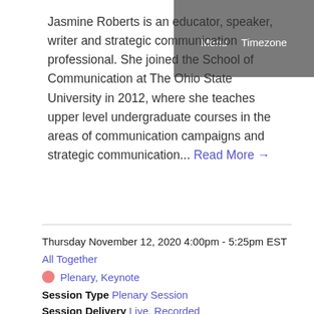Menu  Timezone
Jasmine Roberts is an educator, speaker, writer and strategic communication professional. She joined the School of Communication at The Ohio State University in 2012, where she teaches upper level undergraduate courses in the areas of communication campaigns and strategic communication... Read More →
Thursday November 12, 2020 4:00pm - 5:25pm EST
All Together
Plenary, Keynote
Session Type Plenary Session
Session Delivery Live, Recorded
Captioning Captioned